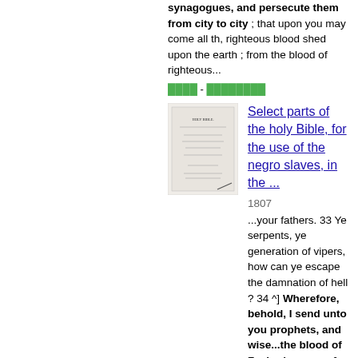synagogues, and persecute them from city to city ; that upon you may come all th, righteous blood shed upon the earth ; from the blood of righteous...
████ - ████████
[Figure (illustration): Thumbnail of a book cover titled HOLY BIBLE]
Select parts of the holy Bible, for the use of the negro slaves, in the ...
1807
...your fathers. 33 Ye serpents, ye generation of vipers, how can ye escape the damnation of hell ? 34 ^] Wherefore, behold, I send unto you prophets, and wise...the blood of Zacharias, son of Barachias, whom ye slew between the temple and the altar. 36 Verily 36 Verily I say